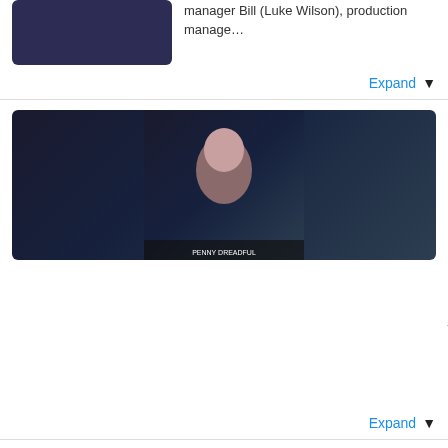manager Bill (Luke Wilson), production manage…
Expand
81. Penny Dreadful: Season 3 | May 1, 2016 | Score: 83 | Wes Studi and Patti LuPone as Dr. Seward join the cast for the third season of the horror series.
Expand
82. Trollhunters: Season 1 | Dec 23, 2016 | Score: 69 | The animated series from Guillermo Del Toro begins with 15-year-old Jim Lake (voiced by the late Anton Yelchin) finding an amulet that grants…
Watch Trailer | Expand
83. Frequency: Season 1 | Oct 5, 2016 | Score: 64